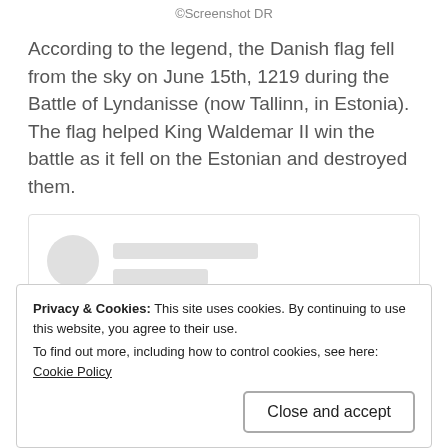©Screenshot DR
According to the legend, the Danish flag fell from the sky on June 15th, 1219 during the Battle of Lyndanisse (now Tallinn, in Estonia). The flag helped King Waldemar II win the battle as it fell on the Estonian and destroyed them.
[Figure (screenshot): Embedded social media post placeholder with avatar circle and gray loading lines, with a 'View this post on Instagram' link at bottom]
Privacy & Cookies: This site uses cookies. By continuing to use this website, you agree to their use.
To find out more, including how to control cookies, see here: Cookie Policy